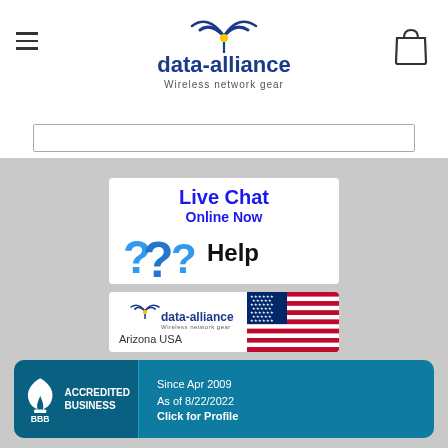[Figure (logo): Data-Alliance 'Wireless network gear' logo with antenna icon in header]
[Figure (screenshot): White search bar input box]
[Figure (infographic): Live Chat Online Now banner with blue question marks and Help text]
[Figure (logo): Data-Alliance Arizona USA banner with US flag]
[Figure (infographic): BBB Accredited Business badge - Since Apr 2009, As of 8/22/2022, Click for Profile]